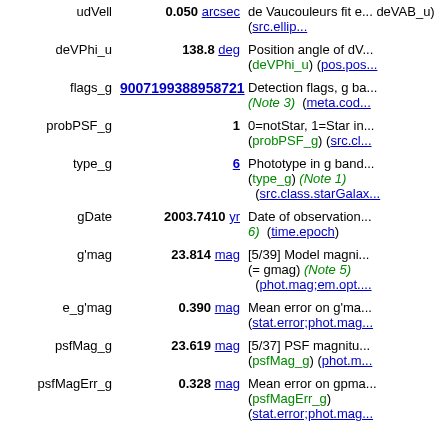| Name | Value | Description |
| --- | --- | --- |
| udVell | 0.050 arcsec | de Vaucouleurs fit e... deVAB_u) (src.ellip... |
| deVPhi_u | 138.8 deg | Position angle of dV... (deVPhi_u) (pos.pos... |
| flags_g | 9007199388958721 | Detection flags, g ba... (Note 3) (meta.cod... |
| probPSF_g | 1 | 0=notStar, 1=Star in... (probPSF_g) (src.cl... |
| type_g | 6 | Phototype in g band (type_g) (Note 1) (src.class.starGalax... |
| gDate | 2003.7410 yr | Date of observation... 6) (time.epoch) |
| g'mag | 23.814 mag | [5/39] Model magni... (= gmag) (Note 5) (phot.mag;em.opt.... |
| e_g'mag | 0.390 mag | Mean error on g'ma... (stat.error;phot.mag... |
| psfMag_g | 23.619 mag | [5/37] PSF magnitu... (psfMag_g) (phot.m... |
| psfMagErr_g | 0.328 mag | Mean error on gpma... (psfMagErr_g) (stat.error;phot.mag...) |